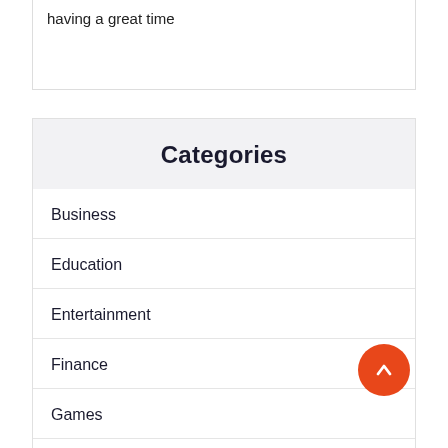having a great time
Categories
Business
Education
Entertainment
Finance
Games
General